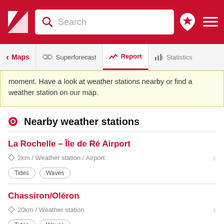Search
moment. Have a look at weather stations nearby or find a weather station on our map.
Nearby weather stations
La Rochelle – Île de Ré Airport
2km / Weather station / Airport
Tides  Waves
Chassiron/Oléron
20km / Weather station
Tides  Waves